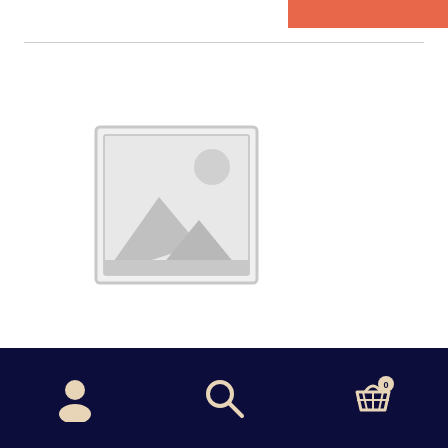[Figure (screenshot): Orange/salmon colored bar in top-right corner of a website header]
[Figure (photo): Placeholder image icon — a grey outlined square with a mountain/landscape and sun placeholder graphic in the lower-left of the product area]
Life Application Study Bible Lg. Print HC
[Figure (other): Bottom navigation bar with dark navy background containing three icons: user/account icon, search icon, and shopping cart icon with badge showing 0]